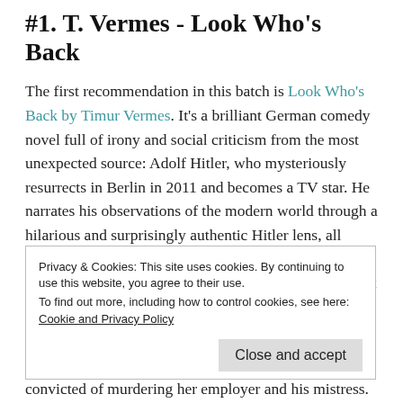#1. T. Vermes - Look Who's Back
The first recommendation in this batch is Look Who's Back by Timur Vermes. It's a brilliant German comedy novel full of irony and social criticism from the most unexpected source: Adolf Hitler, who mysteriously resurrects in Berlin in 2011 and becomes a TV star. He narrates his observations of the modern world through a hilarious and surprisingly authentic Hitler lens, all while everyone around him thinks he's a method actor who never breaks character. There's also a movie (Er ist wieder da) and it's honestly a bit disconcerting to find yourself sympathising with Hitler.
Privacy & Cookies: This site uses cookies. By continuing to use this website, you agree to their use.
To find out more, including how to control cookies, see here:
Cookie and Privacy Policy
Close and accept
convicted of murdering her employer and his mistress.